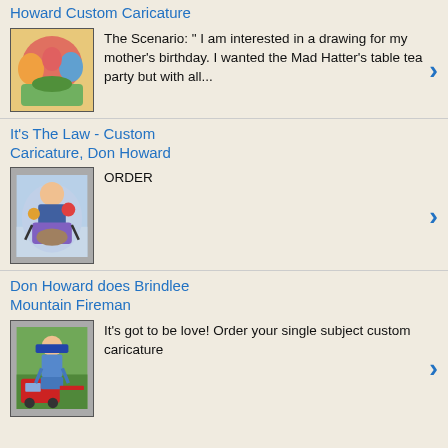Howard Custom Caricature
The Scenario: " I am interested in a drawing for my mother's birthday. I wanted the Mad Hatter's table tea party but with all...
[Figure (illustration): Colorful caricature illustration with multiple figures]
It's The Law - Custom Caricature, Don Howard
ORDER
[Figure (illustration): Caricature illustration of a person on a horse with cartoon elements]
Don Howard does Brindlee Mountain Fireman
It's got to be love! Order your single subject custom caricature
[Figure (illustration): Caricature of a fireman standing in front of a fire truck]